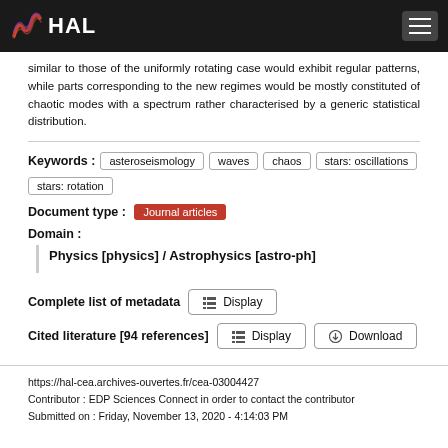HAL
similar to those of the uniformly rotating case would exhibit regular patterns, while parts corresponding to the new regimes would be mostly constituted of chaotic modes with a spectrum rather characterised by a generic statistical distribution.
Keywords : asteroseismology  waves  chaos  stars: oscillations  stars: rotation
Document type : Journal articles
Domain : Physics [physics] / Astrophysics [astro-ph]
Complete list of metadata  Display
Cited literature [94 references]  Display  Download
https://hal-cea.archives-ouvertes.fr/cea-03004427
Contributor : EDP Sciences Connect in order to contact the contributor
Submitted on : Friday, November 13, 2020 - 4:14:03 PM